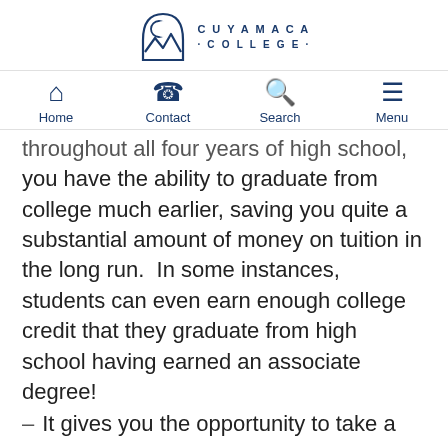[Figure (logo): Cuyamaca College logo with mountain/moon icon and text CUYAMACA COLLEGE]
Home | Contact | Search | Menu
throughout all four years of high school, you have the ability to graduate from college much earlier, saving you quite a substantial amount of money on tuition in the long run.  In some instances, students can even earn enough college credit that they graduate from high school having earned an associate degree!
It gives you the opportunity to take a